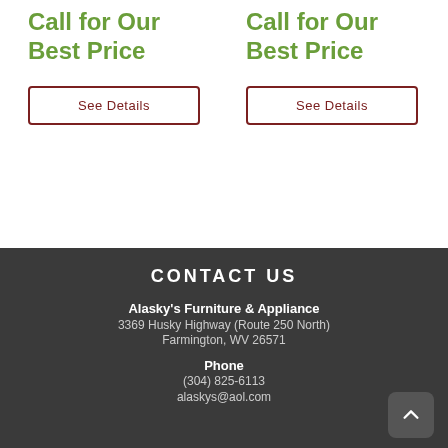Call for Our Best Price
See Details
Call for Our Best Price
See Details
CONTACT US
Alasky's Furniture & Appliance
3369 Husky Highway (Route 250 North)
Farmington, WV 26571
Phone
(304) 825-6113
alaskys@aol.com